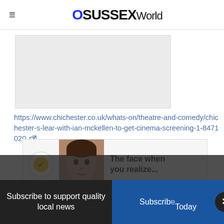OSussex World
[Figure (photo): Grey placeholder image box for an article image]
https://www.chichester.co.uk/whats-on/theatre-and-comedy/chichester-s-lear-with-ian-mckellen-to-get-cinema-screening-1-8471020
[Figure (infographic): Advertisement overlay showing a person's face with text 'The face when you realize...' and a yellow checkmark icon]
https://www.chichester.co.uk/whats-on/music/range-of-performers-at-bognor-
Subscribe to support quality local news   Subscribe Today